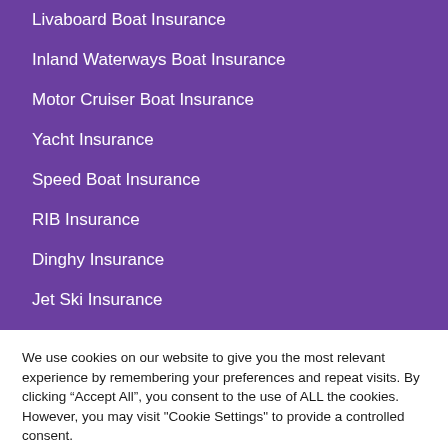Livaboard Boat Insurance
Inland Waterways Boat Insurance
Motor Cruiser Boat Insurance
Yacht Insurance
Speed Boat Insurance
RIB Insurance
Dinghy Insurance
Jet Ski Insurance
We use cookies on our website to give you the most relevant experience by remembering your preferences and repeat visits. By clicking “Accept All”, you consent to the use of ALL the cookies. However, you may visit "Cookie Settings" to provide a controlled consent.
Cookie Settings | Accept All